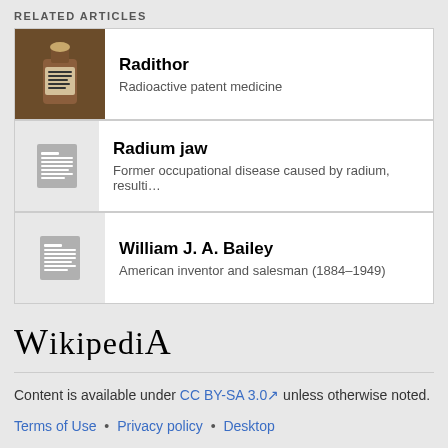RELATED ARTICLES
| Image | Title | Description |
| --- | --- | --- |
| [photo] | Radithor | Radioactive patent medicine |
| [icon] | Radium jaw | Former occupational disease caused by radium, resulti... |
| [icon] | William J. A. Bailey | American inventor and salesman (1884–1949) |
[Figure (logo): Wikipedia wordmark logo]
Content is available under CC BY-SA 3.0 unless otherwise noted.
Terms of Use • Privacy policy • Desktop